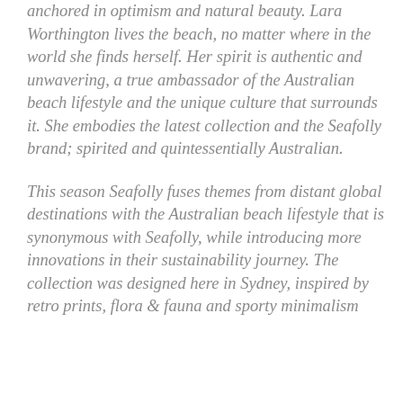anchored in optimism and natural beauty. Lara Worthington lives the beach, no matter where in the world she finds herself. Her spirit is authentic and unwavering, a true ambassador of the Australian beach lifestyle and the unique culture that surrounds it. She embodies the latest collection and the Seafolly brand; spirited and quintessentially Australian.
This season Seafolly fuses themes from distant global destinations with the Australian beach lifestyle that is synonymous with Seafolly, while introducing more innovations in their sustainability journey. The collection was designed here in Sydney, inspired by retro prints, flora & fauna and sporty minimalism